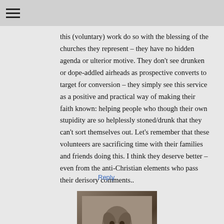≡
this (voluntary) work do so with the blessing of the churches they represent – they have no hidden agenda or ulterior motive. They don't see drunken or dope-addled airheads as prospective converts to target for conversion – they simply see this service as a positive and practical way of making their faith known: helping people who though their own stupidity are so helplessly stoned/drunk that they can't sort themselves out. Let's remember that these volunteers are sacrificing time with their families and friends doing this. I think they deserve better – even from the anti-Christian elements who pass their derisory comments..
Reply
[Figure (photo): A small avatar image showing what appears to be a sculptural figure or creature, dark brown tones, sitting or crouching position.]
34